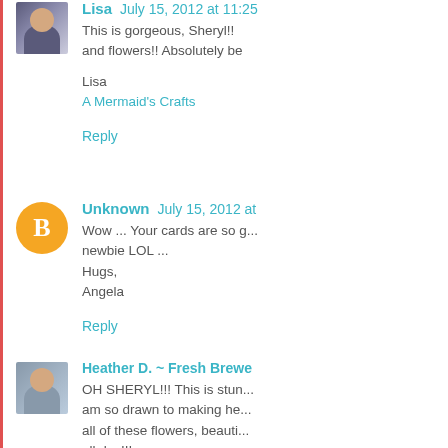Lisa  July 15, 2012 at 11:25
This is gorgeous, Sheryl!! and flowers!! Absolutely be
Lisa
A Mermaid's Crafts
Reply
Unknown  July 15, 2012 at
Wow ... Your cards are so g... newbie LOL ...
Hugs,
Angela
Reply
Heather D. ~ Fresh Brewe
OH SHERYL!!! This is stun... am so drawn to making he... all of these flowers, beauti... all day!!!